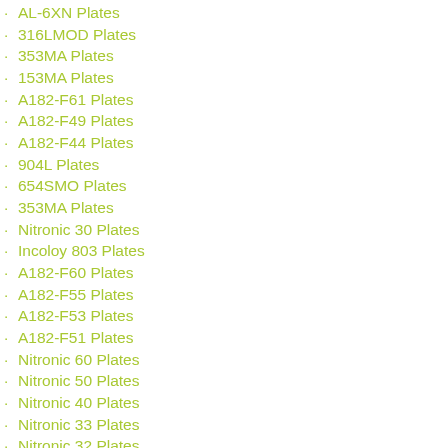·AL-6XN Plates
·316LMOD Plates
·353MA Plates
·153MA Plates
·A182-F61 Plates
·A182-F49 Plates
·A182-F44 Plates
·904L Plates
·654SMO Plates
·353MA Plates
·Nitronic 30 Plates
·Incoloy 803 Plates
·A182-F60 Plates
·A182-F55 Plates
·A182-F53 Plates
·A182-F51 Plates
·Nitronic 60 Plates
·Nitronic 50 Plates
·Nitronic 40 Plates
·Nitronic 33 Plates
·Nitronic 32 Plates
·Sanicro 28 Plates
·Ph13-8Mo Plates